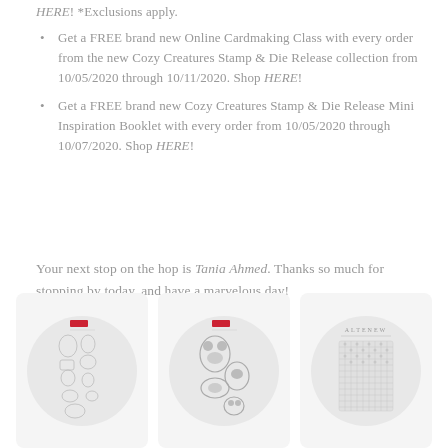HERE! *Exclusions apply.
Get a FREE brand new Online Cardmaking Class with every order from the new Cozy Creatures Stamp & Die Release collection from 10/05/2020 through 10/11/2020. Shop HERE!
Get a FREE brand new Cozy Creatures Stamp & Die Release Mini Inspiration Booklet with every order from 10/05/2020 through 10/07/2020. Shop HERE!
Your next stop on the hop is Tania Ahmed. Thanks so much for stopping by today, and have a marvelous day!
[Figure (photo): Product card 1 - stamp sheet with small illustrated animals/objects on white background with circular light gray background]
[Figure (photo): Product card 2 - stamp sheet with larger black illustrated animals on white background with circular light gray background]
[Figure (photo): Product card 3 - Altenew branded patterned paper or die cut sheet showing geometric/floral grid pattern with circular light gray background]